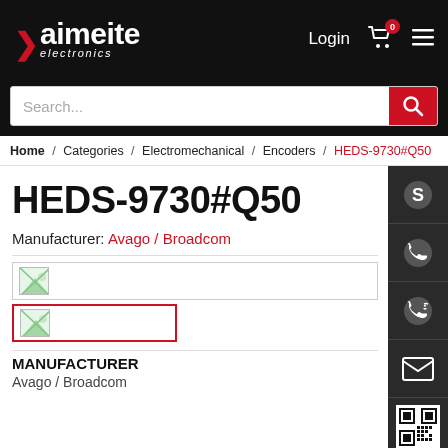[Figure (logo): Kaimeite Electronics logo in white on black background with red arrow/chevron]
Search...
Home / Categories / Electromechanical / Encoders / HEDS-9730#Q50
HEDS-9730#Q50
Manufacturer: Avago / Broadcom
[Figure (photo): Product image placeholder (broken/loading image icon)]
[Figure (photo): Product image placeholder (broken/loading image icon), selected with red border]
MANUFACTURER
Avago / Broadcom